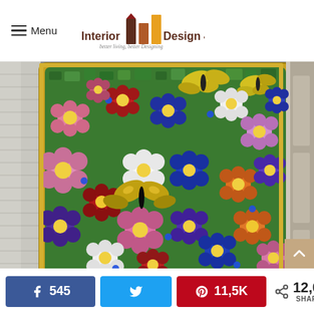Menu | Interior Design 4 — better living, better Designing
[Figure (photo): A stained glass mosaic panel in a gold frame, featuring colorful flowers (pink, red, blue, white, purple, orange) and butterflies on a green background, leaning against the exterior siding of a house near a door.]
545 (Facebook shares) | Twitter share | 11,5K (Pinterest shares) | 12,0K SHARES